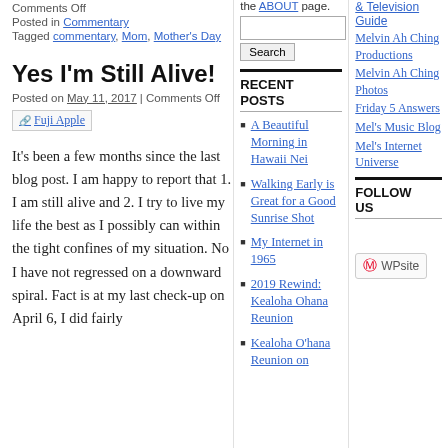Comments Off
Posted in Commentary
Tagged commentary, Mom, Mother's Day
Yes I'm Still Alive!
Posted on May 11, 2017 | Comments Off
[Figure (photo): Fuji Apple image (broken/placeholder)]
It's been a few months since the last blog post. I am happy to report that 1. I am still alive and 2. I try to live my life the best as I possibly can within the tight confines of my situation. No I have not regressed on a downward spiral. Fact is at my last check-up on April 6, I did fairly
the ABOUT page.
[Figure (other): Search input box and Search button]
RECENT POSTS
A Beautiful Morning in Hawaii Nei
Walking Early is Great for a Good Sunrise Shot
My Internet in 1965
2019 Rewind: Kealoha Ohana Reunion
Kealoha O'hana Reunion on
& Television Guide
Melvin Ah Ching Productions
Melvin Ah Ching Photos
Friday 5 Answers
Mel's Music Blog
Mel's Internet Universe
FOLLOW US
[Figure (logo): Pinterest WPsite button]